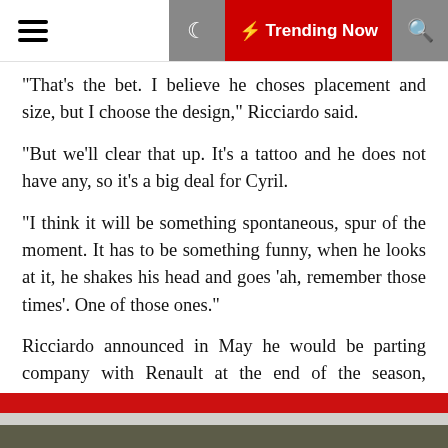☰ 🌙 ⚡ Trending Now 🔍
“That’s the bet. I believe he choses placement and size, but I choose the design,” Ricciardo said.
“But we’ll clear that up. It’s a tattoo and he does not have any, so it’s a big deal for Cyril.
“I think it will be something spontaneous, spur of the moment. It has to be something funny, when he looks at it, he shakes his head and goes ‘ah, remember those times’. One of those ones.”
Ricciardo announced in May he would be parting company with Renault at the end of the season, switching to McLaren in place of the Ferrari-bound Carlos Sainz Jr.
Ricciardo will become team-mates with Lando Norris at McLaren next year, with the pair having already struck up a friendly and fun friendship in the paddock.
[Figure (photo): Bottom strip showing red, white, and dark olive/green horizontal bands, suggesting a racing car or livery.]